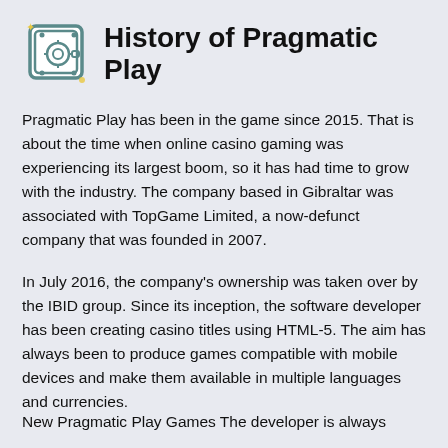[Figure (illustration): Safe/vault icon outline drawing in teal/gray color scheme]
History of Pragmatic Play
Pragmatic Play has been in the game since 2015. That is about the time when online casino gaming was experiencing its largest boom, so it has had time to grow with the industry. The company based in Gibraltar was associated with TopGame Limited, a now-defunct company that was founded in 2007.
In July 2016, the company's ownership was taken over by the IBID group. Since its inception, the software developer has been creating casino titles using HTML-5. The aim has always been to produce games compatible with mobile devices and make them available in multiple languages and currencies.
New Pragmatic Play Games The developer is always